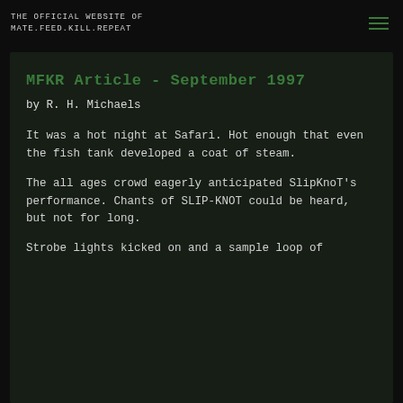THE OFFICIAL WEBSITE OF MATE.FEED.KILL.REPEAT
MFKR Article - September 1997
by R. H. Michaels
It was a hot night at Safari. Hot enough that even the fish tank developed a coat of steam.
The all ages crowd eagerly anticipated SlipKnoT's performance. Chants of SLIP-KNOT could be heard, but not for long.
Strobe lights kicked on and a sample loop of